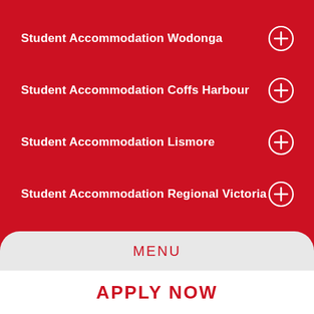Student Accommodation Wodonga
Student Accommodation Coffs Harbour
Student Accommodation Lismore
Student Accommodation Regional Victoria
Student Accommodation Bundoora
MENU
APPLY NOW